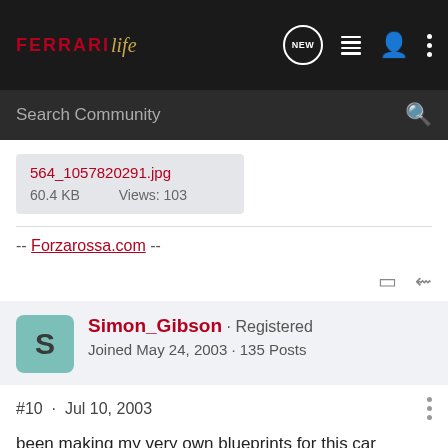FERRARI life — navigation bar
564_1057820291.jpg
60.4 KB   Views: 103
-- Forzarossa.com --
Simon_Gibson · Registered
Joined May 24, 2003 · 135 Posts
#10 · Jul 10, 2003
been making my very own blueprints for this car